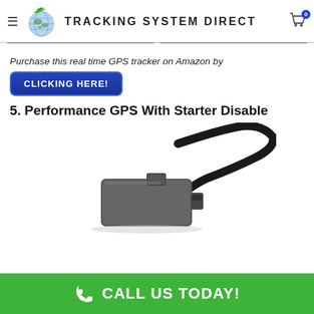Tracking System Direct
Purchase this real time GPS tracker on Amazon by
CLICKING HERE!
5. Performance GPS With Starter Disable
[Figure (photo): GPS tracker device with black cable, small rectangular gray unit]
CALL US TODAY!